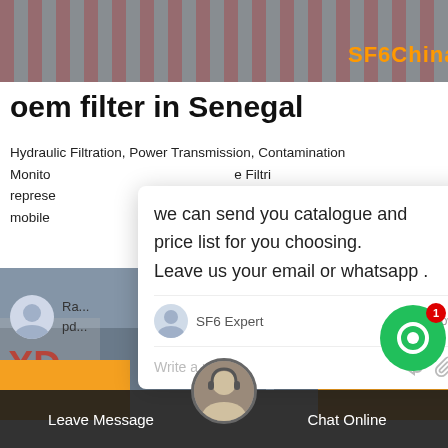[Figure (photo): Photo of road barriers/construction scene with SF6China branding in orange text]
oem filter in Senegal
Hydraulic Filtration, Power Transmission, Contamination Monitoring, Filtri representative, y need for mobile, DATED
[Figure (screenshot): Chat popup overlay with message: we can send you catalogue and price list for you choosing. Leave us your email or whatsapp . SF6 Expert, just now]
[Figure (photo): Author avatar and partial text: Ra... pd...]
[Figure (screenshot): Reply input bar with Write a reply.. placeholder and thumbs up and paperclip icons]
[Figure (photo): Bottom photo of industrial towers/antenna with XD text and a customer service agent avatar]
Leave Message
Chat Online